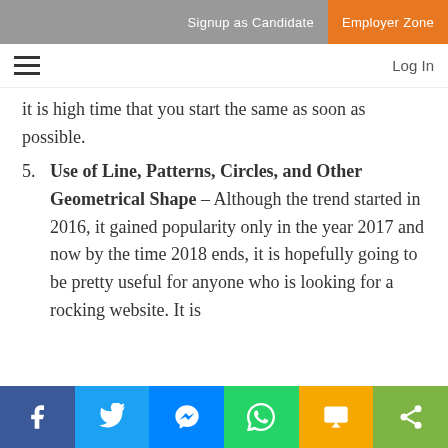Signup as Candidate  Employer Zone
≡  Log In
it is high time that you start the same as soon as possible.
5. Use of Line, Patterns, Circles, and Other Geometrical Shape – Although the trend started in 2016, it gained popularity only in the year 2017 and now by the time 2018 ends, it is hopefully going to be pretty useful for anyone who is looking for a rocking website. It is
Facebook  Twitter  Messenger  WhatsApp  SMS  Share